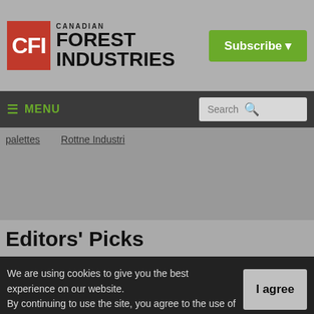Canadian Forest Industries
Subscribe
≡ MENU
Search
palettes   Rottne Industri
Editors' Picks
We are using cookies to give you the best experience on our website.
By continuing to use the site, you agree to the use of cookies.
To find out more, read our privacy policy.